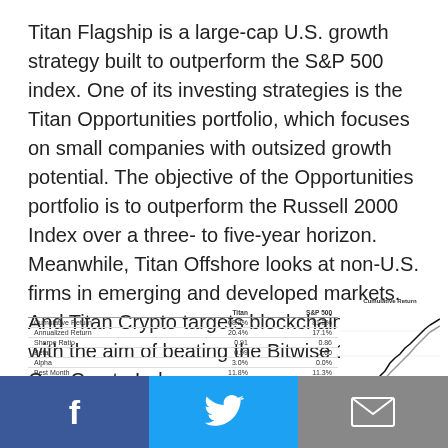Titan Flagship is a large-cap U.S. growth strategy built to outperform the S&P 500 index. One of its investing strategies is the Titan Opportunities portfolio, which focuses on small companies with outsized growth potential. The objective of the Opportunities portfolio is to outperform the Russell 2000 Index over a three- to five-year horizon. Meanwhile, Titan Offshore looks at non-U.S. firms in emerging and developed markets. And Titan Crypto targets blockchain assets with the aim of beating the Bitwise 10 Large Cap Crypto Index.
|  | Titan | S&P 500 |
| --- | --- | --- |
| Cumulative Return | 68.2% | 81.3% |
| Annualized Return | 20.4% | 17.1% |
| Sharpe Ratio | 0.91 | 0.86 |
| Beta | 0.99 | 1.00 |
| Alpha | 3.0% | 0.0% |
| Best Month | 11.8% | 11.3% |
[Figure (line-chart): Cumulative Return line chart showing two lines (Titan and S&P 500) rising over time, with Titan slightly higher]
f  [Twitter bird icon]  [Envelope icon]